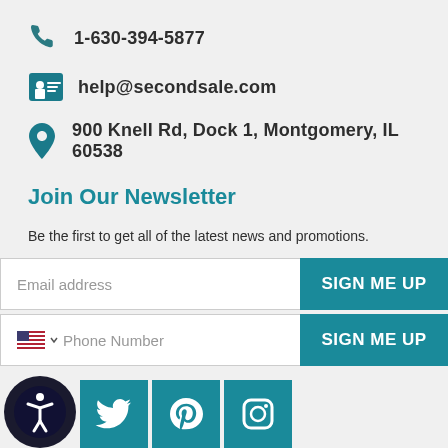1-630-394-5877
help@secondsale.com
900 Knell Rd, Dock 1, Montgomery, IL 60538
Join Our Newsletter
Be the first to get all of the latest news and promotions.
Email address
SIGN ME UP
Phone Number
SIGN ME UP
[Figure (other): Social media and accessibility icons: accessibility button, Twitter, Pinterest, Instagram]